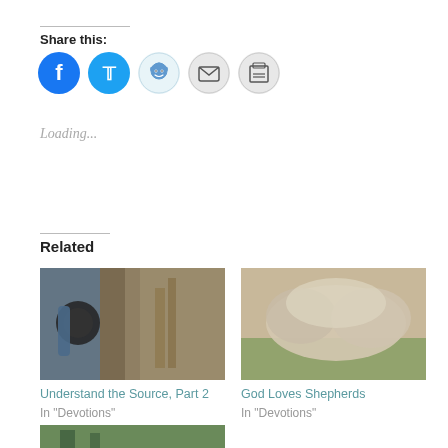Share this:
[Figure (infographic): Row of social share icon buttons: Facebook (blue circle with f), Twitter (blue circle with bird), Reddit (light blue circle with alien), Email (grey circle with envelope), Print (grey circle with printer)]
Loading...
Related
[Figure (photo): Photo of pipes against a tree or rocky surface, close-up showing a dark circular pipe opening and a blue cylindrical pipe]
Understand the Source, Part 2
In "Devotions"
[Figure (photo): Photo of an animal (sheep or similar) from behind, showing its woolly body against grass]
God Loves Shepherds
In "Devotions"
[Figure (photo): Partial photo at bottom of page, cut off, showing trees and green outdoor scene]